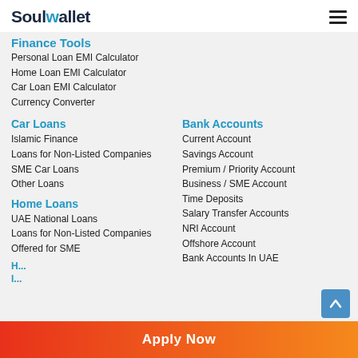SoulWallet
Finance Tools
Personal Loan EMI Calculator
Home Loan EMI Calculator
Car Loan EMI Calculator
Currency Converter
Car Loans
Islamic Finance
Loans for Non-Listed Companies
SME Car Loans
Other Loans
Home Loans
UAE National Loans
Loans for Non-Listed Companies
Offered for SME
Bank Accounts
Current Account
Savings Account
Premium / Priority Account
Business / SME Account
Time Deposits
Salary Transfer Accounts
NRI Account
Offshore Account
Bank Accounts In UAE
Apply Now